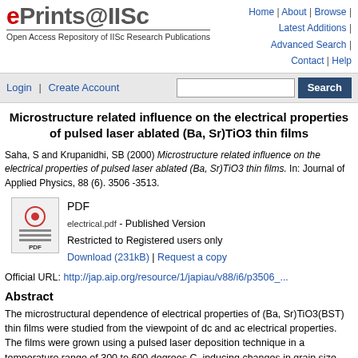ePrints@IISc — Open Access Repository of IISc Research Publications | Home | About | Browse | Latest Additions | Advanced Search | Contact | Help
Login | Create Account [Search box] [Search button]
Microstructure related influence on the electrical properties of pulsed laser ablated (Ba, Sr)TiO3 thin films
Saha, S and Krupanidhi, SB (2000) Microstructure related influence on the electrical properties of pulsed laser ablated (Ba, Sr)TiO3 thin films. In: Journal of Applied Physics, 88 (6). 3506 -3513.
[Figure (other): PDF file icon with red circle and lines]
PDF
electrical.pdf - Published Version
Restricted to Registered users only
Download (231kB) | Request a copy
Official URL: http://jap.aip.org/resource/1/japiau/v88/i6/p3506_...
Abstract
The microstructural dependence of electrical properties of (Ba, Sr)TiO3(BST) thin films were studied from the viewpoint of dc and ac electrical properties. The films were grown using a pulsed laser deposition technique in a temperature range of 300 to 600 degrees C, inducing changes in grain size, structure, and morphology. Consequently, two different types of films were realized, of which type I was polycrystalline, multigrained, while type II was